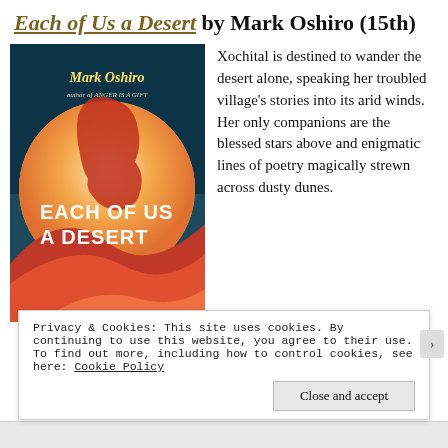Each of Us a Desert by Mark Oshiro (15th)
[Figure (photo): Book cover of 'Each of Us a Desert' by Mark Oshiro, author of ANGER IS A GIFT. Features a stylized desert landscape with a large orange/pink circle (sun/moon), silhouette of a face in profile, and sand dunes in warm red/orange tones against a teal-blue sky background.]
Xochital is destined to wander the desert alone, speaking her troubled village's stories into its arid winds. Her only companions are the blessed stars above and enigmatic lines of poetry magically strewn across dusty dunes.
Privacy & Cookies: This site uses cookies. By continuing to use this website, you agree to their use.
To find out more, including how to control cookies, see here: Cookie Policy
Close and accept